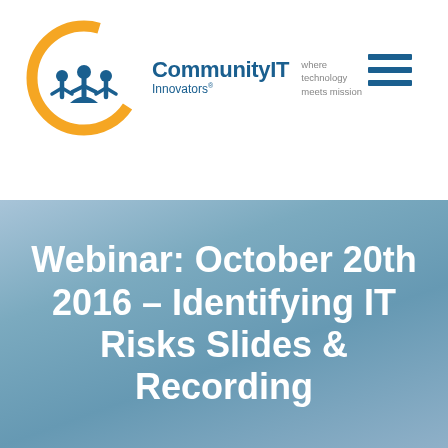[Figure (logo): Community IT Innovators logo with orange circle, blue figures, and tagline 'where technology meets mission']
Webinar: October 20th 2016 – Identifying IT Risks Slides & Recording